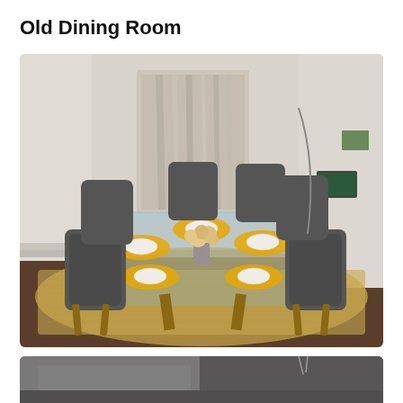Old Dining Room
[Figure (photo): A dining room with a glass-top table surrounded by dark grey upholstered chairs on wooden legs, set with yellow placemats and white dishes, a floral centerpiece, on a woven jute rug, with a large abstract artwork on the wall behind.]
[Figure (photo): Partial view of a room with dark grey tones, partially visible furniture and wall.]